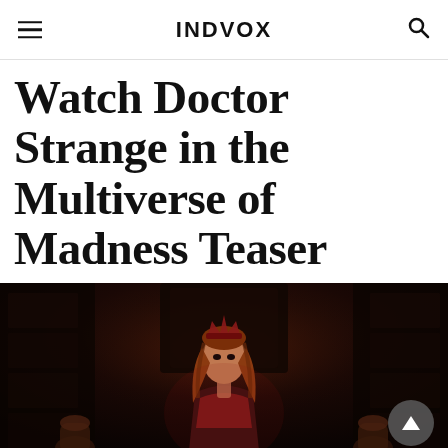INDVOX
Watch Doctor Strange in the Multiverse of Madness Teaser
[Figure (photo): A woman in a red and dark costume with a crown/headdress stands in a dimly lit stone interior, cinematic scene from Doctor Strange in the Multiverse of Madness.]